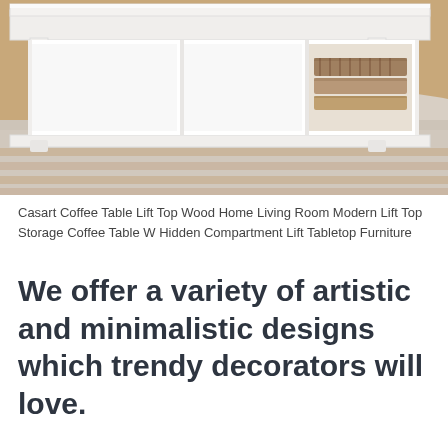[Figure (photo): A white coffee table with a lift-top mechanism and open cubby storage below, containing decorative baskets and books, sitting on a beige shag rug over wood floor.]
Casart Coffee Table Lift Top Wood Home Living Room Modern Lift Top Storage Coffee Table W Hidden Compartment Lift Tabletop Furniture
We offer a variety of artistic and minimalistic designs which trendy decorators will love.